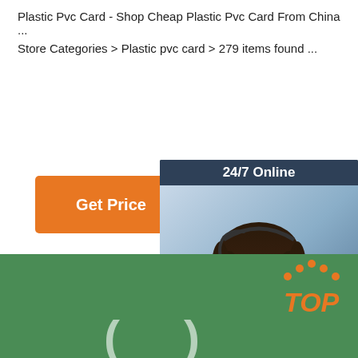Plastic Pvc Card - Shop Cheap Plastic Pvc Card From China ...
Store Categories > Plastic pvc card > 279 items found ...
[Figure (screenshot): Orange 'Get Price' button]
[Figure (infographic): 24/7 Online chat advertisement panel with woman wearing headset, 'Click here for free chat!' text, and an orange QUOTATION button]
[Figure (photo): Green background section at bottom with white bracket/arrow symbols and a TOP logo in orange/red on the right]